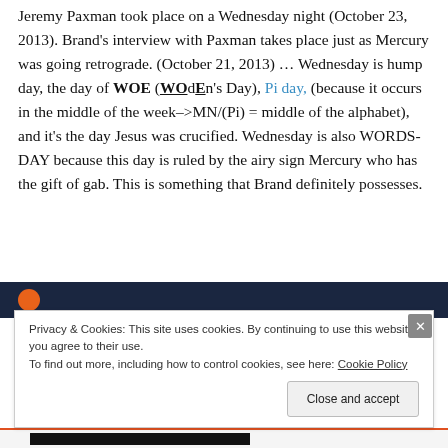Jeremy Paxman took place on a Wednesday night (October 23, 2013). Brand's interview with Paxman takes place just as Mercury was going retrograde. (October 21, 2013) … Wednesday is hump day, the day of WOE (WOdEn's Day), Pi day, (because it occurs in the middle of the week–>MN/(Pi) = middle of the alphabet), and it's the day Jesus was crucified. Wednesday is also WORDS-DAY because this day is ruled by the airy sign Mercury who has the gift of gab. This is something that Brand definitely possesses.
[Figure (screenshot): Screenshot of a website page showing a dark navy header bar with an orange circle avatar icon, partially visible.]
Privacy & Cookies: This site uses cookies. By continuing to use this website, you agree to their use. To find out more, including how to control cookies, see here: Cookie Policy
Close and accept